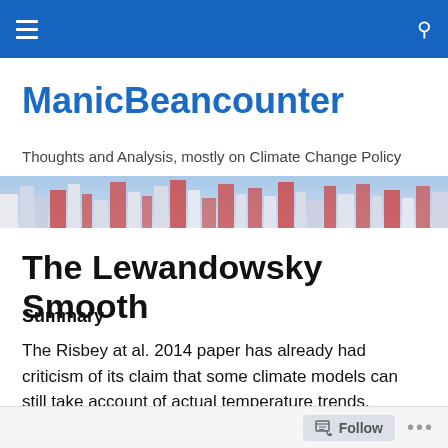ManicBeancounter — Thoughts and Analysis, mostly on Climate Change Policy
[Figure (photo): City skyline banner image with tall residential buildings]
The Lewandowsky Smooth
Summary
The Risbey at al. 2014 paper has already had criticism of its claim that some climate models can still take account of actual temperature trends. However, those criticisms did not take into account the “actual” data used, nor did they
Follow